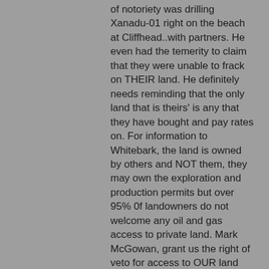of notoriety was drilling Xanadu-01 right on the beach at Cliffhead..with partners. He even had the temerity to claim that they were unable to frack on THEIR land. He definitely needs reminding that the only land that is theirs' is any that they have bought and pay rates on. For information to Whitebark, the land is owned by others and NOT them, they may own the exploration and production permits but over 95% 0f landowners do not welcome any oil and gas access to private land. Mark McGowan, grant us the right of veto for access to OUR land and Mr Keenahan will find out whose land it is.Alarmingly his comments confirmed, as the article above proves, they are just waiting to frack the hell out of the Perth Basin. We all have to stand